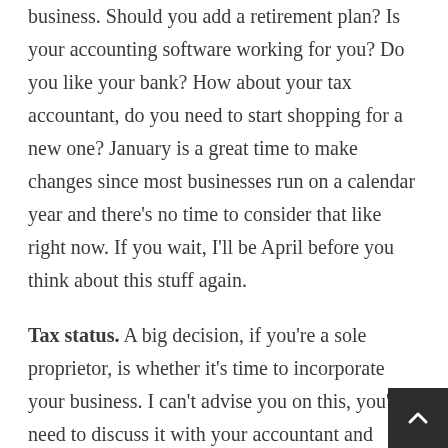business. Should you add a retirement plan? Is your accounting software working for you? Do you like your bank? How about your tax accountant, do you need to start shopping for a new one? January is a great time to make changes since most businesses run on a calendar year and there's no time to consider that like right now. If you wait, I'll be April before you think about this stuff again.
Tax status. A big decision, if you're a sole proprietor, is whether it's time to incorporate your business. I can't advise you on this, you'll need to discuss it with your accountant and maybe a lawyer. But if you think you've grown to the level where